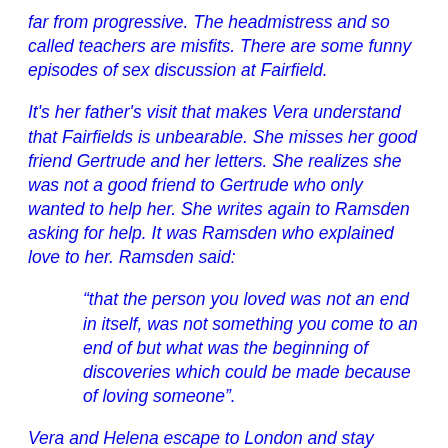far from progressive.  The headmistress and so called teachers are misfits.  There are some funny episodes of sex discussion at Fairfield.
It's her father's visit that makes Vera understand that Fairfields is unbearable. She misses her good friend Gertrude and her letters. She realizes she was not a good friend to Gertrude who only wanted to help her. She writes again to Ramsden asking for help.  It was Ramsden who explained love to her. Ramsden said:
“that the person you loved was not an end in itself, was not something you come to an end of but what was the beginning of discoveries which could be made because of loving someone”.
Vera and Helena escape to London and stay overnight at